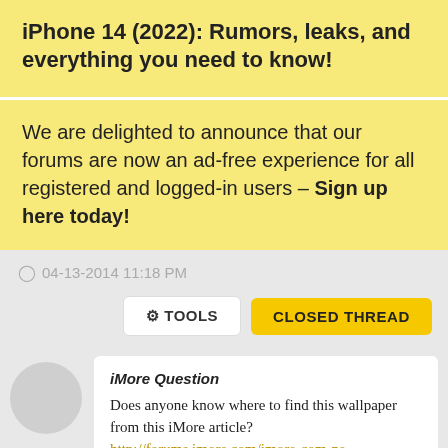iPhone 14 (2022): Rumors, leaks, and everything you need to know!
We are delighted to announce that our forums are now an ad-free experience for all registered and logged-in users - Sign up here today!
04-13-2014 11:18 PM
TOOLS   CLOSED THREAD
iMore Question
Does anyone know where to find this wallpaper from this iMore article? http://forums.imore.com/imore-com-ne...-